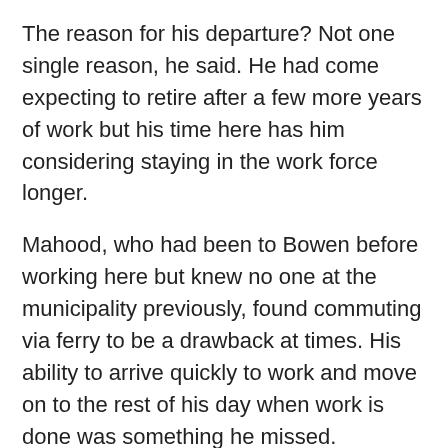The reason for his departure? Not one single reason, he said. He had come expecting to retire after a few more years of work but his time here has him considering staying in the work force longer.
Mahood, who had been to Bowen before working here but knew no one at the municipality previously, found commuting via ferry to be a drawback at times. His ability to arrive quickly to work and move on to the rest of his day when work is done was something he missed.
The municipality issued the following statement: "He has brought valuable insight, experience and a strong work ethic to his roles within the municipality. He will be genuinely missed by council and staff alike. We wish Brent the best with his future endeavours."